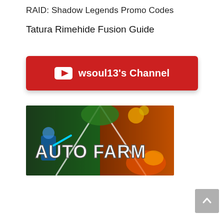RAID: Shadow Legends Promo Codes
Tatura Rimehide Fusion Guide
[Figure (other): Red YouTube channel subscribe button with YouTube play icon and text: wsoul13's Channel]
[Figure (other): Auto Farm banner image for RAID: Shadow Legends showing fantasy characters with game artwork and bold white text AUTO FARM]